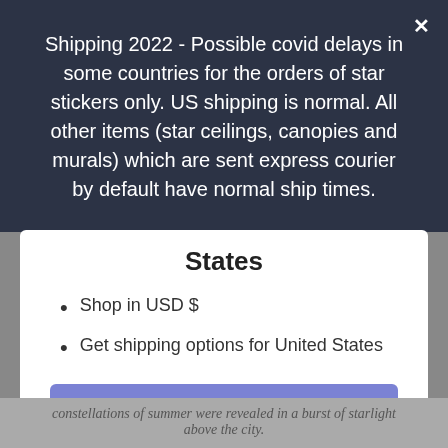Shipping 2022 - Possible covid delays in some countries for the orders of star stickers only. US shipping is normal. All other items (star ceilings, canopies and murals) which are sent express courier by default have normal ship times.
States
Shop in USD $
Get shipping options for United States
SHOP NOW
CHANGE SHIPPING COUNTRY
constellations of summer were revealed in a burst of starlight above the city.